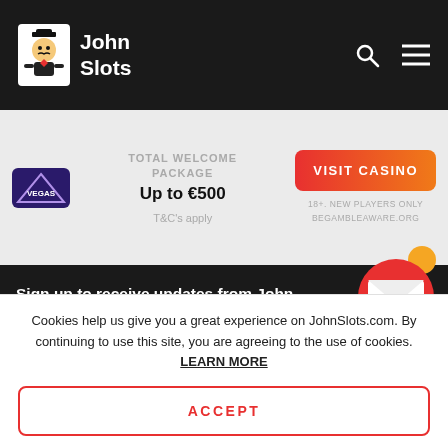John Slots
[Figure (logo): John Slots logo with cartoon character icon and site name]
TOTAL WELCOME PACKAGE
Up to €500
T&C's apply
VISIT CASINO
18+. NEW PLAYERS ONLY. BEGAMBLEAWARE.ORG
Sign up to receive updates from John
e-mail address
Phone number
Cookies help us give you a great experience on JohnSlots.com. By continuing to use this site, you are agreeing to the use of cookies. LEARN MORE
ACCEPT